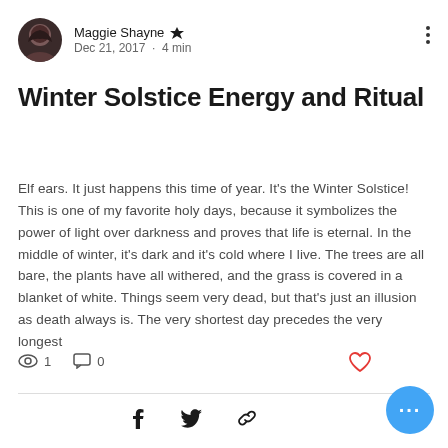Maggie Shayne · Dec 21, 2017 · 4 min
Winter Solstice Energy and Ritual
Elf ears. It just happens this time of year. It's the Winter Solstice! This is one of my favorite holy days, because it symbolizes the power of light over darkness and proves that life is eternal. In the middle of winter, it's dark and it's cold where I live. The trees are all bare, the plants have all withered, and the grass is covered in a blanket of white. Things seem very dead, but that's just an illusion as death always is. The very shortest day precedes the very longest
1 views · 0 comments